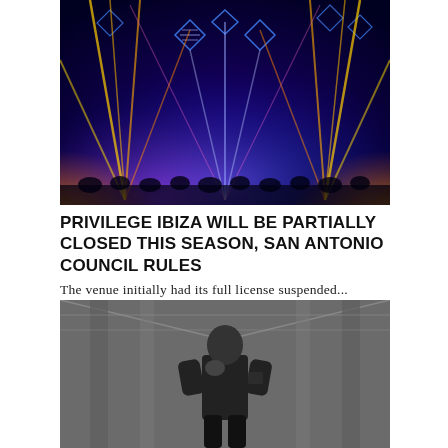[Figure (photo): Concert venue with dramatic colorful stage lighting — blue, purple, orange, and yellow laser beams radiating from geometric diamond/triangle LED rigs above a crowd]
PRIVILEGE IBIZA WILL BE PARTIALLY CLOSED THIS SEASON, SAN ANTONIO COUNCIL RULES
The venue initially had its full license suspended...
[Figure (photo): Black and white photo of a man in a black t-shirt standing thoughtfully with his hand raised to his chin, in an industrial corridor or warehouse setting]